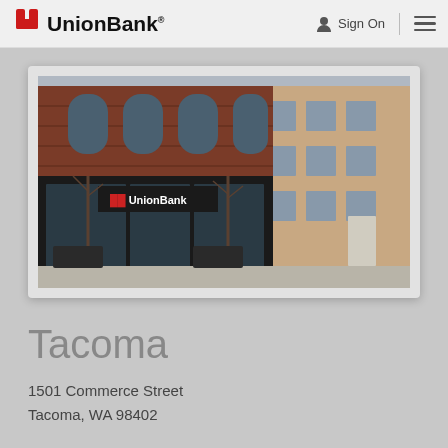UnionBank | Sign On
[Figure (photo): Exterior photo of Union Bank branch at 1501 Commerce Street, Tacoma WA — a red brick historic building with large storefront windows and a black Union Bank sign above the entrance, with a modern beige building visible to the right.]
Tacoma
1501 Commerce Street
Tacoma, WA 98402